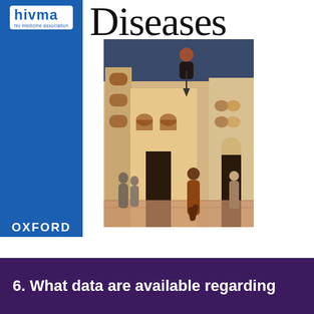[Figure (logo): HIVMA (HIV Medicine Association) logo in white on blue sidebar]
Diseases
[Figure (illustration): Medieval painting depicting a plague scene with figures in a city, people suffering and dying, historical illustration of epidemic disease]
[Figure (logo): Oxford University Press logo with text 'OXFORD UNIVERSITY PRESS academic.oup.com/cid']
6. What data are available regarding